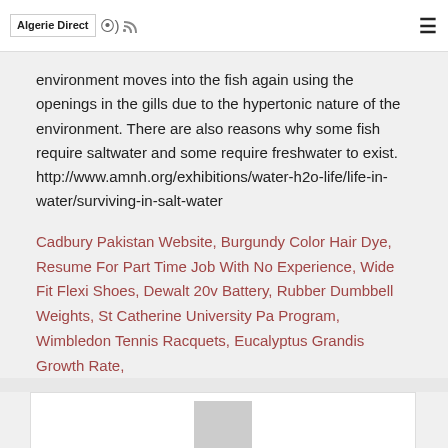Algerie Direct
environment moves into the fish again using the openings in the gills due to the hypertonic nature of the environment. There are also reasons why some fish require saltwater and some require freshwater to exist. http://www.amnh.org/exhibitions/water-h2o-life/life-in-water/surviving-in-salt-water
Cadbury Pakistan Website, Burgundy Color Hair Dye, Resume For Part Time Job With No Experience, Wide Fit Flexi Shoes, Dewalt 20v Battery, Rubber Dumbbell Weights, St Catherine University Pa Program, Wimbledon Tennis Racquets, Eucalyptus Grandis Growth Rate,
[Figure (photo): User avatar placeholder (grey square)]